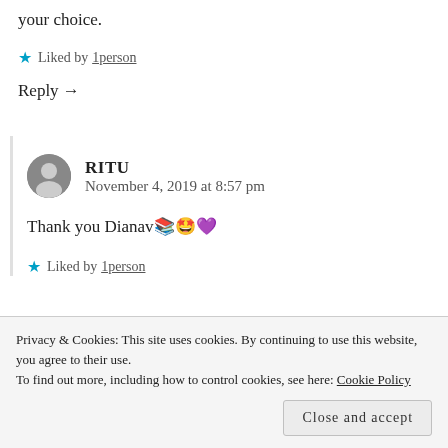your choice.
★ Liked by 1person
Reply →
RITU
November 4, 2019 at 8:57 pm
Thank you Dianav📚🤩💜
★ Liked by 1person
Privacy & Cookies: This site uses cookies. By continuing to use this website, you agree to their use.
To find out more, including how to control cookies, see here: Cookie Policy
Close and accept